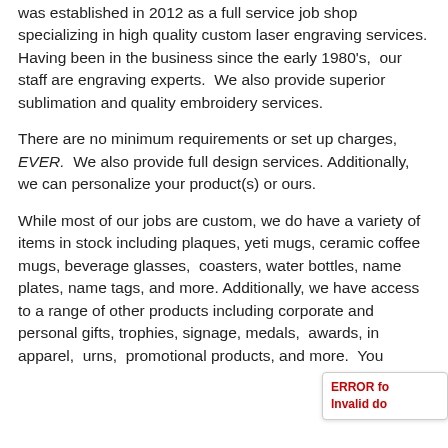was established in 2012 as a full service job shop specializing in high quality custom laser engraving services. Having been in the business since the early 1980's, our staff are engraving experts. We also provide superior sublimation and quality embroidery services.
There are no minimum requirements or set up charges, EVER. We also provide full design services. Additionally, we can personalize your product(s) or ours.
While most of our jobs are custom, we do have a variety of items in stock including plaques, yeti mugs, ceramic coffee mugs, beverage glasses, coasters, water bottles, name plates, name tags, and more. Additionally, we have access to a range of other products including corporate and personal gifts, trophies, signage, medals, awards, in apparel, urns, promotional products, and more. You